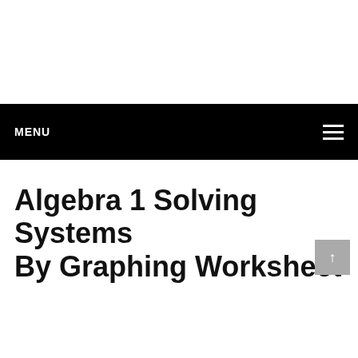MENU
Algebra 1 Solving Systems By Graphing Worksheet